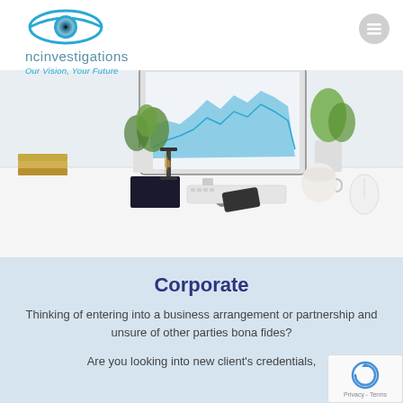[Figure (logo): NCI Investigations logo with eye icon, text 'ncinvestigations' and tagline 'Our Vision, Your Future']
[Figure (photo): Office desk scene with iMac computer showing a blue chart, keyboard, mouse, plants, books, and a coffee cup on a white desk]
Corporate
Thinking of entering into a business arrangement or partnership and unsure of other parties bona fides?
Are you looking into new client's credentials,